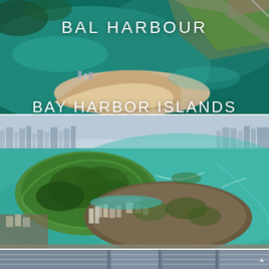[Figure (photo): Aerial view of Bal Harbour, Florida showing a curved sandy barrier island peninsula with teal ocean water and a bridge/road visible]
BAL HARBOUR
[Figure (photo): Aerial view of Bay Harbor Islands, Florida showing two islands in turquoise Biscayne Bay water with residential development and greenery, city skyline visible in background]
BAY HARBOR ISLANDS
[Figure (photo): Partial bottom strip showing modern high-rise buildings with balconies, blue-grey facade]